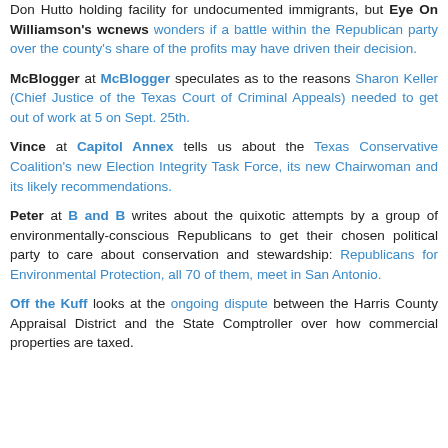Don Hutto holding facility for undocumented immigrants, but Eye On Williamson's wcnews wonders if a battle within the Republican party over the county's share of the profits may have driven their decision.
McBlogger at McBlogger speculates as to the reasons Sharon Keller (Chief Justice of the Texas Court of Criminal Appeals) needed to get out of work at 5 on Sept. 25th.
Vince at Capitol Annex tells us about the Texas Conservative Coalition's new Election Integrity Task Force, its new Chairwoman and its likely recommendations.
Peter at B and B writes about the quixotic attempts by a group of environmentally-conscious Republicans to get their chosen political party to care about conservation and stewardship: Republicans for Environmental Protection, all 70 of them, meet in San Antonio.
Off the Kuff looks at the ongoing dispute between the Harris County Appraisal District and the State Comptroller over how commercial properties are taxed.